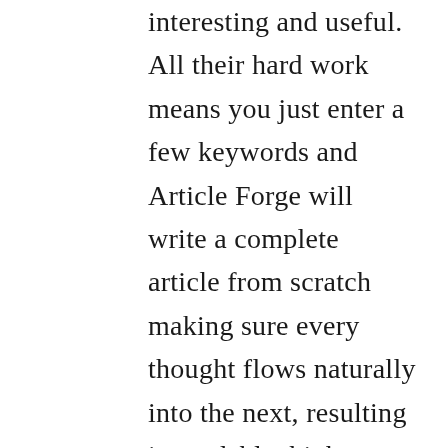interesting and useful. All their hard work means you just enter a few keywords and Article Forge will write a complete article from scratch making sure every thought flows naturally into the next, resulting in readable, high quality, and unique content. Put simply, this is a secret weapon for anyone who needs content. I get how impossible that sounds so you need to see how Article Forge writes a completearticle in less than 60 seconds!